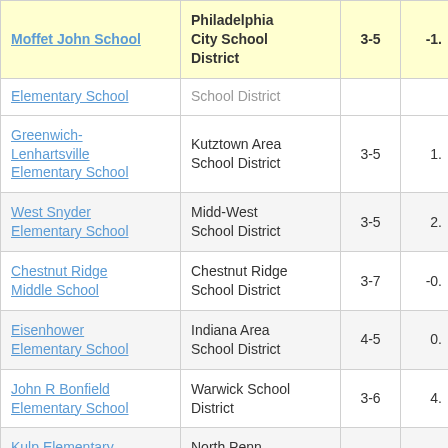| School | District | Grades | Value |
| --- | --- | --- | --- |
| Moffet John School | Philadelphia City School District | 3-5 | -1. |
| Elementary School (partial) | School District (partial) |  |  |
| Greenwich-Lenhartsville Elementary School | Kutztown Area School District | 3-5 | 1. |
| West Snyder Elementary School | Midd-West School District | 3-5 | 2. |
| Chestnut Ridge Middle School | Chestnut Ridge School District | 3-7 | -0. |
| Eisenhower Elementary School | Indiana Area School District | 4-5 | 0. |
| John R Bonfield Elementary School | Warwick School District | 3-6 | 4. |
| Kulp Elementary School | North Penn School District | 3-6 | 3. |
| Selinsgrove | Selinsgrove Area |  |  |